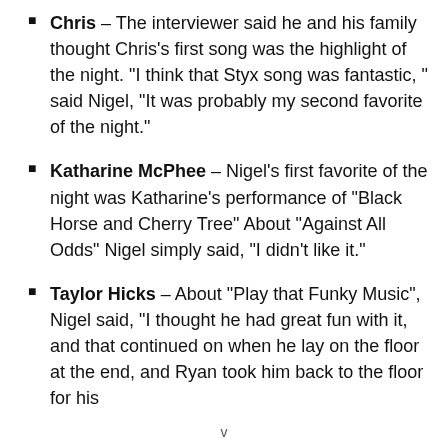Chris – The interviewer said he and his family thought Chris's first song was the highlight of the night. “I think that Styx song was fantastic, ” said Nigel, “It was probably my second favorite of the night.”
Katharine McPhee – Nigel’s first favorite of the night was Katharine’s performance of “Black Horse and Cherry Tree” About “Against All Odds” Nigel simply said, “I didn’t like it.”
Taylor Hicks – About “Play that Funky Music”, Nigel said, “I thought he had great fun with it, and that continued on when he lay on the floor at the end, and Ryan took him back to the floor for his
v